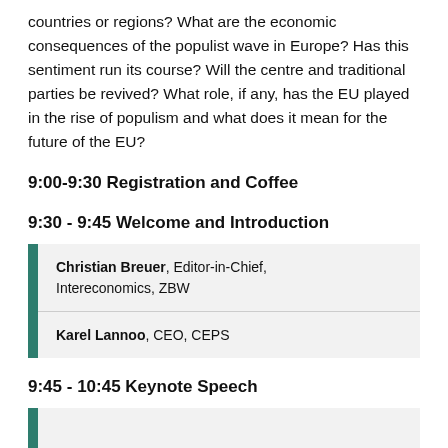countries or regions? What are the economic consequences of the populist wave in Europe? Has this sentiment run its course? Will the centre and traditional parties be revived? What role, if any, has the EU played in the rise of populism and what does it mean for the future of the EU?
9:00-9:30 Registration and Coffee
9:30 - 9:45 Welcome and Introduction
Christian Breuer, Editor-in-Chief, Intereconomics, ZBW
Karel Lannoo, CEO, CEPS
9:45 - 10:45 Keynote Speech